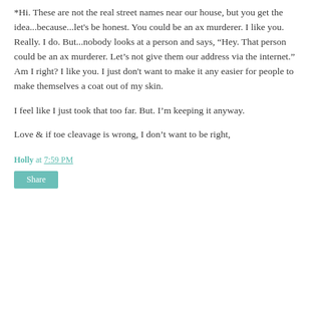*Hi. These are not the real street names near our house, but you get the idea...because...let's be honest. You could be an ax murderer. I like you. Really. I do. But...nobody looks at a person and says, “Hey. That person could be an ax murderer. Let’s not give them our address via the internet.” Am I right? I like you. I just don't want to make it any easier for people to make themselves a coat out of my skin.
I feel like I just took that too far. But. I'm keeping it anyway.
Love & if toe cleavage is wrong, I don’t want to be right,
Holly at 7:59 PM